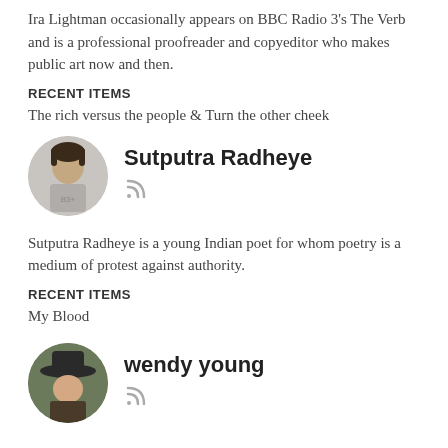Ira Lightman occasionally appears on BBC Radio 3's The Verb and is a professional proofreader and copyeditor who makes public art now and then.
RECENT ITEMS
The rich versus the people & Turn the other cheek
Sutputra Radheye
Sutputra Radheye is a young Indian poet for whom poetry is a medium of protest against authority.
RECENT ITEMS
My Blood
wendy young